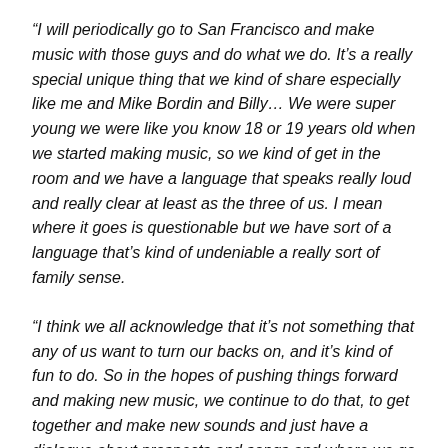“I will periodically go to San Francisco and make music with those guys and do what we do. It’s a really special unique thing that we kind of share especially like me and Mike Bordin and Billy… We were super young we were like you know 18 or 19 years old when we started making music, so we kind of get in the room and we have a language that speaks really loud and really clear at least as the three of us. I mean where it goes is questionable but we have sort of a language that’s kind of undeniable a really sort of family sense.
“I think we all acknowledge that it’s not something that any of us want to turn our backs on, and it’s kind of fun to do. So in the hopes of pushing things forward and making new music, we continue to do that, to get together and make new sounds and just have a dialogue about prospects and songs and where we go in the future.”
Chandler Sorrells